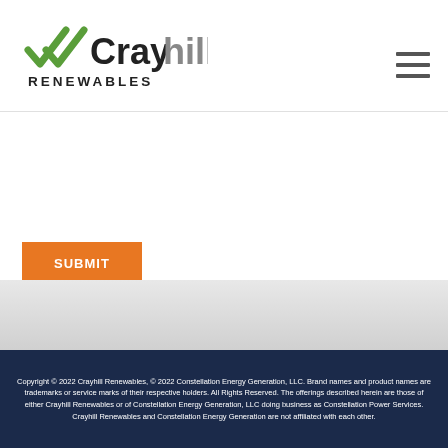[Figure (logo): Crayhill Renewables logo with green checkmark/arrow icon and dark text]
SUBMIT
Copyright © 2022 Crayhill Renewables, © 2022 Constellation Energy Generation, LLC. Brand names and product names are trademarks or service marks of their respective holders. All Rights Reserved. The offerings described herein are those of either Crayhill Renewables or of Constellation Energy Generation, LLC doing business as Constellation Power Services. Crayhill Renewables and Constellation Energy Generation are not affiliated with each other.